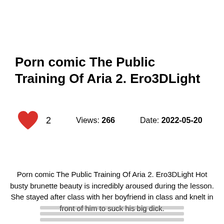Porn comic The Public Training Of Aria 2. Ero3DLight
2   Views: 266   Date: 2022-05-20
Porn comic The Public Training Of Aria 2. Ero3DLight Hot busty brunette beauty is incredibly aroused during the lesson. She stayed after class with her boyfriend in class and knelt in front of him to suck his big dick.